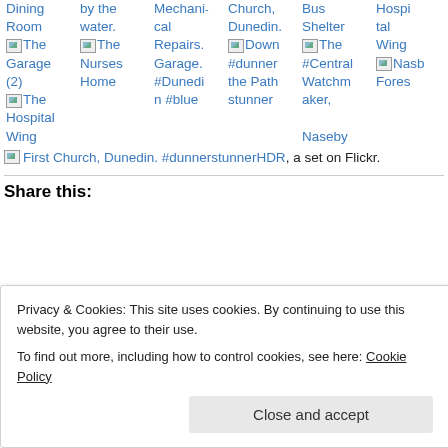Dining Room | by the water. | Mechanical Repairs. Garage. #Dunedin #blue | Church, Dunedin. Down the Path #dunnerstunner | Bus Shelter #Central Otago Watchmaker, Naseby | Hospital Wing | The Garage (2) | The Nurses Home | The Hospital Wing
First Church, Dunedin. #dunnerstunnerHDR, a set on Flickr.
Share this:
Privacy & Cookies: This site uses cookies. By continuing to use this website, you agree to their use. To find out more, including how to control cookies, see here: Cookie Policy
Close and accept